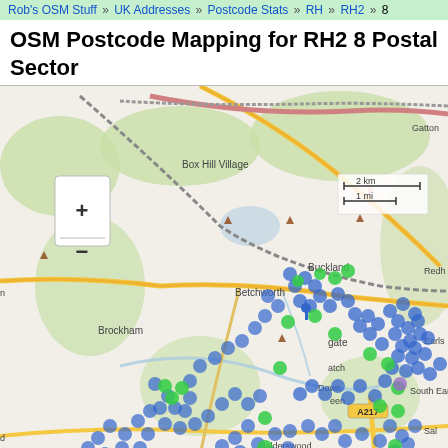Rob's OSM Stuff » UK Addresses » Postcode Stats » RH » RH2 » 8
OSM Postcode Mapping for RH2 8 Postal Sector
[Figure (map): OpenStreetMap showing RH2 8 postal sector with blue and green dots marking postcode locations around Reigate area (Box Hill Village, Buckland, Betchworth, Brockham, Redhill, South Earlswood, Merstham). Scale bar shows 2 km / 1 mi. Zoom controls (+/-) visible top left.]